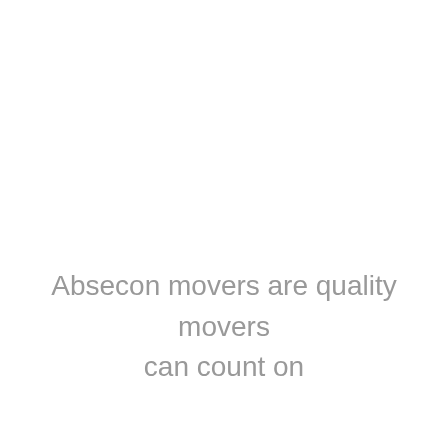Absecon movers are quality movers can count on